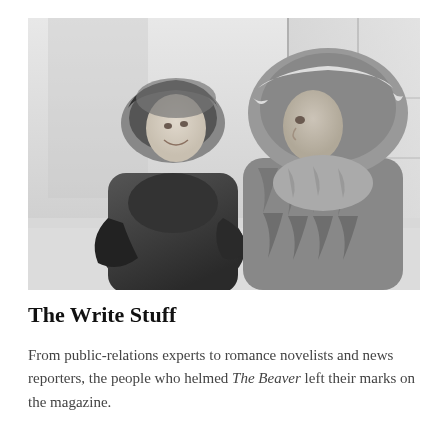[Figure (photo): Black and white photograph of two people in heavy winter coats and fur-trimmed hoods, smiling and facing each other outdoors in a snowy setting.]
The Write Stuff
From public-relations experts to romance novelists and news reporters, the people who helmed The Beaver left their marks on the magazine.